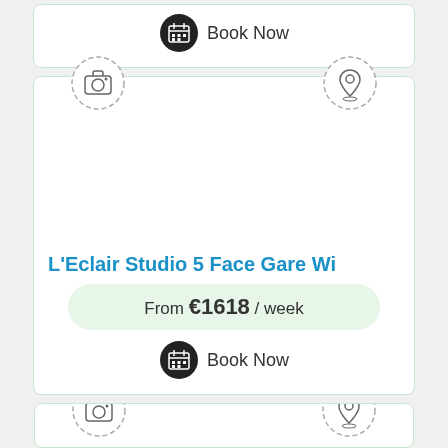[Figure (screenshot): Partial top card showing Book Now button with calendar icon]
[Figure (screenshot): Listing card for L'Eclair Studio 5 Face Gare Wi with camera and location icons, photo area, title, price and Book Now button]
L'Eclair Studio 5 Face Gare Wi
From €1618 / week
[Figure (screenshot): Partial bottom card showing camera and location dashed circle icons]